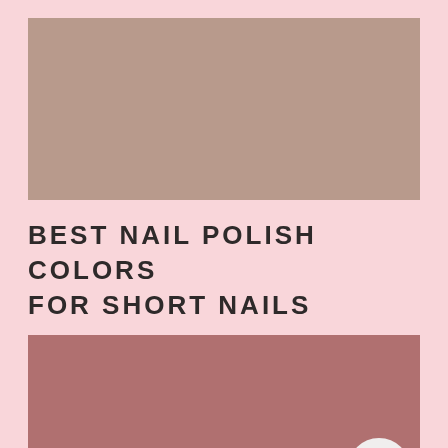[Figure (photo): Taupe/beige solid color block representing a nail polish image placeholder]
BEST NAIL POLISH COLORS FOR SHORT NAILS
[Figure (photo): Dusty rose/mauve solid color block representing a nail polish image placeholder, with UI scroll-to-top button and chat button overlaid]